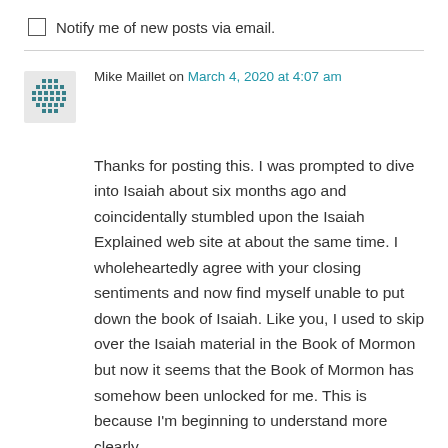Notify me of new posts via email.
Mike Maillet on March 4, 2020 at 4:07 am
Thanks for posting this. I was prompted to dive into Isaiah about six months ago and coincidentally stumbled upon the Isaiah Explained web site at about the same time. I wholeheartedly agree with your closing sentiments and now find myself unable to put down the book of Isaiah. Like you, I used to skip over the Isaiah material in the Book of Mormon but now it seems that the Book of Mormon has somehow been unlocked for me. This is because I'm beginning to understand more clearly.